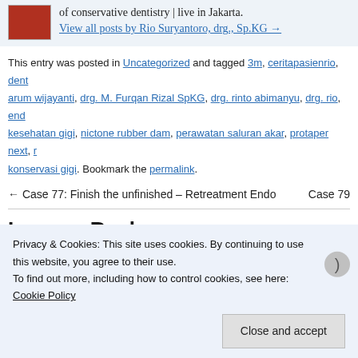of conservative dentistry | live in Jakarta. View all posts by Rio Suryantoro, drg., Sp.KG →
This entry was posted in Uncategorized and tagged 3m, ceritapasienrio, dent arum wijayanti, drg. M. Furqan Rizal SpKG, drg. rinto abimanyu, drg. rio, end kesehatan gigi, nictone rubber dam, perawatan saluran akar, protaper next, r konservasi gigi. Bookmark the permalink.
← Case 77: Finish the unfinished – Retreatment Endo    Case 79
Leave a Reply
Your email address will not be published. Required fields are m
Privacy & Cookies: This site uses cookies. By continuing to use this website, you agree to their use. To find out more, including how to control cookies, see here: Cookie Policy
Close and accept